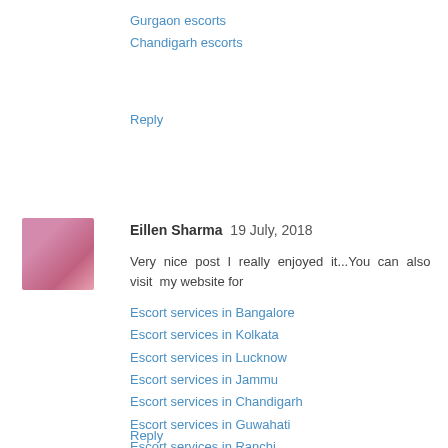Gurgaon escorts
Chandigarh escorts
Reply
Eillen Sharma  19 July, 2018
Very nice post I really enjoyed it...You can also visit my website for
Escort services in Bangalore
Escort services in Kolkata
Escort services in Lucknow
Escort services in Jammu
Escort services in Chandigarh
Escort services in Guwahati
Escort services in Ranchi
Escort services in Gurgaon
Escort services in Chandigarh
Escort services in Mumbai
Reply